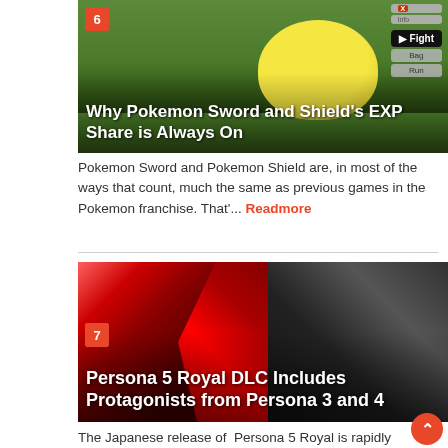[Figure (screenshot): Pokemon Sword and Shield gameplay screenshot with a Yamper/dog Pokemon on grass field with battle UI showing Fight, Bag, Run options. Number badge 6 in top left. Title overlay reads 'Why Pokemon Sword and Shield's EXP Share is Always On']
Pokemon Sword and Pokemon Shield are, in most of the ways that count, much the same as previous games in the Pokemon franchise. That'... Readmore
[Figure (screenshot): Persona 5 Royal artwork showing anime characters on red dramatic background. Number badge 7. Title overlay reads 'Persona 5 Royal DLC Includes Protagonists from Persona 3 and 4']
The Japanese release of Persona 5 Royal is rapidly approaching, and developer Atlus has been using the